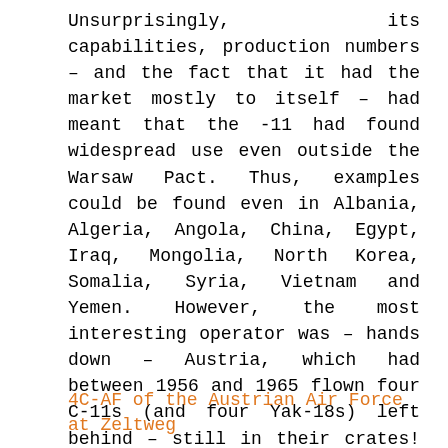Unsurprisingly, its capabilities, production numbers – and the fact that it had the market mostly to itself – had meant that the -11 had found widespread use even outside the Warsaw Pact. Thus, examples could be found even in Albania, Algeria, Angola, China, Egypt, Iraq, Mongolia, North Korea, Somalia, Syria, Vietnam and Yemen. However, the most interesting operator was – hands down – Austria, which had between 1956 and 1965 flown four C-11s (and four Yak-18s) left behind – still in their crates! – by the withdrawing Soviet forces in 1955.
4C-AF of the Austrian Air Force at Zeltweg